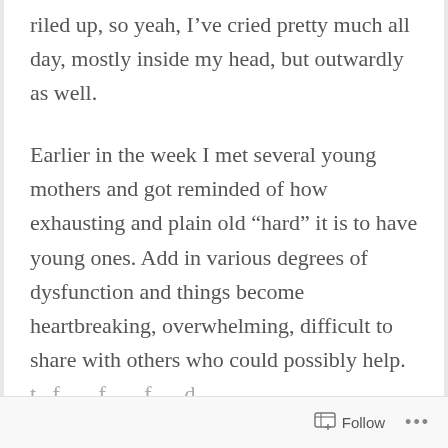riled up, so yeah, I've cried pretty much all day, mostly inside my head, but outwardly as well.
Earlier in the week I met several young mothers and got reminded of how exhausting and plain old “hard” it is to have young ones. Add in various degrees of dysfunction and things become heartbreaking, overwhelming, difficult to share with others who could possibly help.
Follow •••